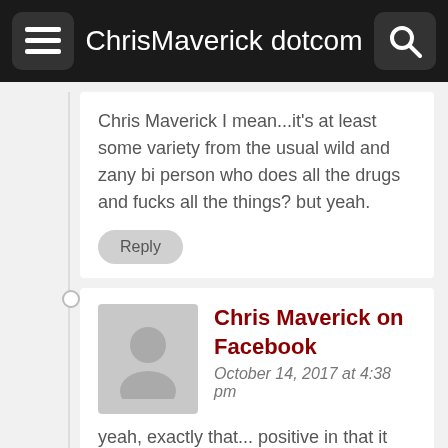ChrisMaverick dotcom
Chris Maverick I mean...it's at least some variety from the usual wild and zany bi person who does all the drugs and fucks all the things? but yeah.
Chris Maverick on Facebook
October 14, 2017 at 4:38 pm
yeah, exactly that... positive in that it was different and positive in that it presents a completely viable look at a relationship that could exist. But